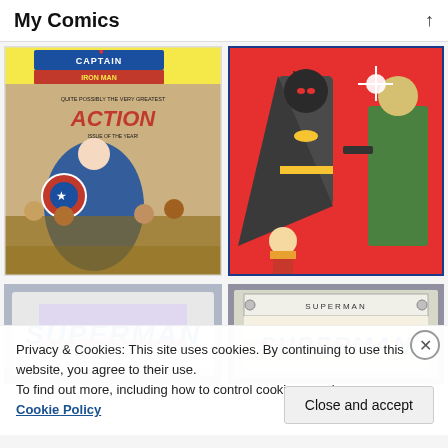My Comics
[Figure (photo): Comic book cover: Captain America and Iron Man action comic]
[Figure (photo): Comic book cover: Batman and Robin action comic with red background]
[Figure (photo): Comic book cover: Superman, partially visible]
[Figure (photo): Comic book cover: Superman, in protective case, partially visible]
Privacy & Cookies: This site uses cookies. By continuing to use this website, you agree to their use.
To find out more, including how to control cookies, see here:
Cookie Policy
Close and accept